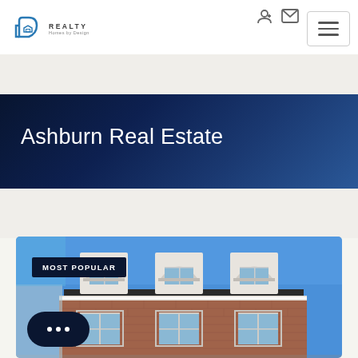[Figure (logo): AD Realty logo with D-shaped house icon and REALTY text, Homes by Design tagline]
[Figure (screenshot): Navigation icons: login/person icon and envelope/email icon at top right]
[Figure (screenshot): Hamburger menu button with three horizontal lines, top right of header]
Ashburn Real Estate
[Figure (photo): Photograph of a multi-story brick townhouse/rowhouse with three dormer windows, white trim, and blue sky background. Shows the upper facade and roof with ornamental dormers.]
MOST POPULAR
[Figure (screenshot): Dark navy chat bubble button with three dots indicating a chat widget]